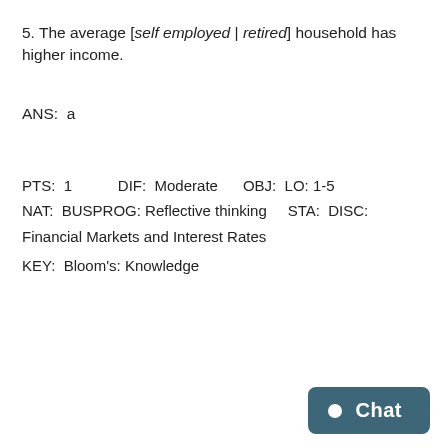5. The average [self employed | retired] household has higher income.
ANS:  a
PTS:  1          DIF:  Moderate     OBJ:  LO: 1-5
NAT:  BUSPROG: Reflective thinking    STA:  DISC: Financial Markets and Interest Rates
KEY:  Bloom's: Knowledge